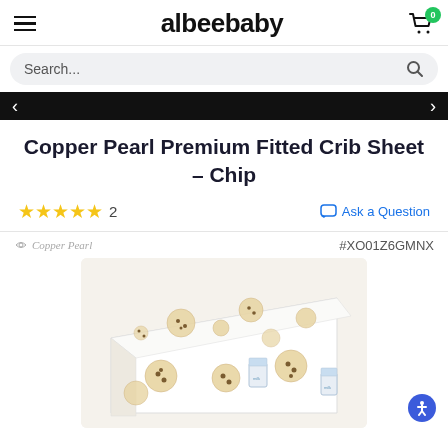albeebaby
Copper Pearl Premium Fitted Crib Sheet – Chip
★★★★★ 2  Ask a Question
Copper Pearl  #XOO1Z6GMNX
[Figure (photo): Copper Pearl Premium Fitted Crib Sheet with chip/cookie and milk pattern on a white background, fitted on a crib mattress shown at an angle]